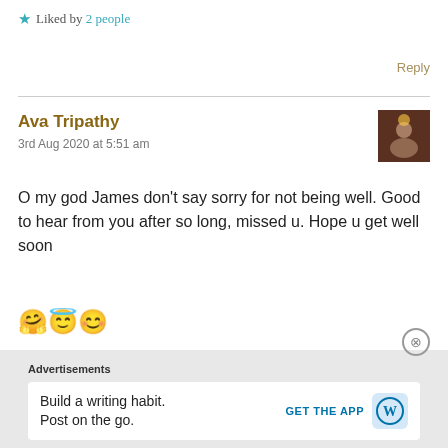★ Liked by 2 people
Reply
Ava Tripathy
3rd Aug 2020 at 5:51 am
O my god James don't say sorry for not being well. Good to hear from you after so long, missed u. Hope u get well soon 🤗😇😊
★ Liked by 1 person
Advertisements
Build a writing habit. Post on the go.
GET THE APP